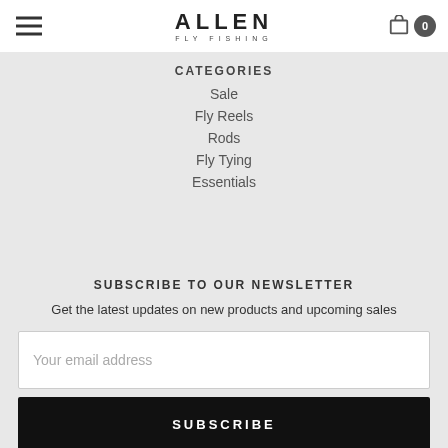ALLEN FLY FISHING
CATEGORIES
Sale
Fly Reels
Rods
Fly Tying
Essentials
SUBSCRIBE TO OUR NEWSLETTER
Get the latest updates on new products and upcoming sales
Your email address
SUBSCRIBE